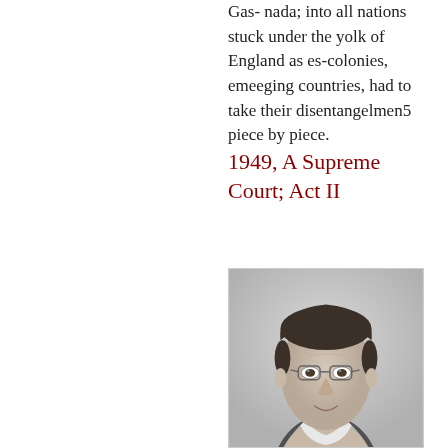Gas- nada; into all nations stuck under the yolk of England as es-colonies, emeeging countries, had to take their disentangelmen5 piece by piece.
1949, A Supreme Court; Act II
[Figure (photo): Black and white portrait photograph of a man with short dark hair, wearing glasses and a suit with white collar, looking directly at the camera.]